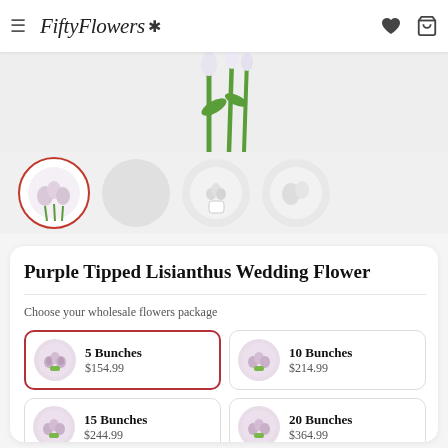FiftyFlowers
[Figure (photo): Main product image showing stems of Purple Tipped Lisianthus flowers against white background, partially visible at top]
[Figure (photo): Thumbnail row: 4 circular thumbnail images of Purple Tipped Lisianthus Wedding Flower. First thumbnail is selected with red border.]
Purple Tipped Lisianthus Wedding Flower
Choose your wholesale flowers package
| Package | Price |
| --- | --- |
| 5 Bunches | $154.99 |
| 10 Bunches | $214.99 |
| 15 Bunches | $244.99 |
| 20 Bunches | $364.99 |